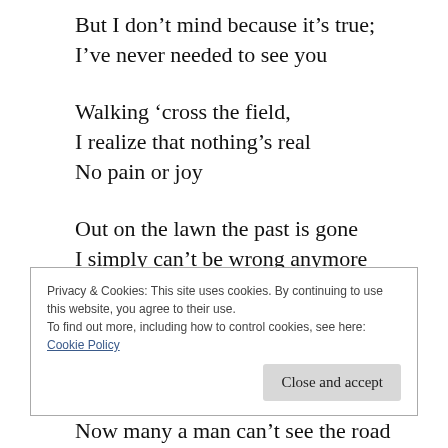But I don’t mind because it’s true;
I’ve never needed to see you
Walking ‘cross the field,
I realize that nothing’s real
No pain or joy
Out on the lawn the past is gone
I simply can’t be wrong anymore
Privacy & Cookies: This site uses cookies. By continuing to use this website, you agree to their use.
To find out more, including how to control cookies, see here:
Cookie Policy
Now many a man can’t see the road